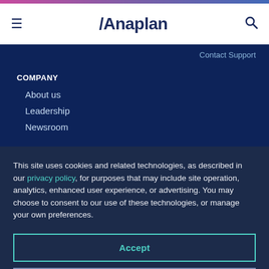Anaplan
Contact Support
COMPANY
About us
Leadership
Newsroom
This site uses cookies and related technologies, as described in our privacy policy, for purposes that may include site operation, analytics, enhanced user experience, or advertising. You may choose to consent to our use of these technologies, or manage your own preferences.
Accept
Decline
Manage settings